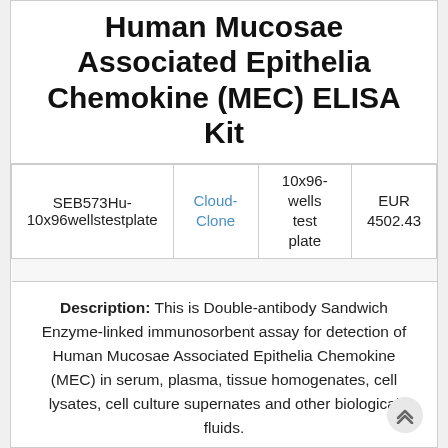Human Mucosae Associated Epithelia Chemokine (MEC) ELISA Kit
| SKU | Brand | Size | Price |
| --- | --- | --- | --- |
| SEB573Hu-10x96wellstestplate | Cloud-Clone | 10x96-wells test plate | EUR 4502.43 |
Description: This is Double-antibody Sandwich Enzyme-linked immunosorbent assay for detection of Human Mucosae Associated Epithelia Chemokine (MEC) in serum, plasma, tissue homogenates, cell lysates, cell culture supernates and other biological fluids.